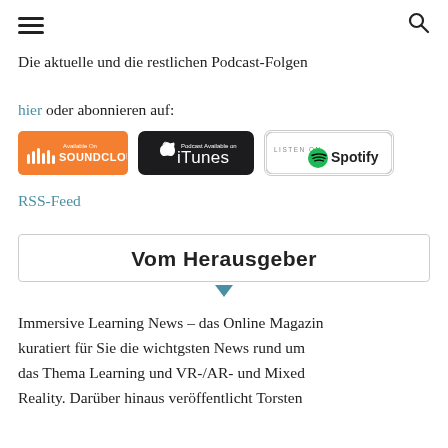[hamburger menu] [search icon]
Die aktuelle und die restlichen Podcast-Folgen hier oder abonnieren auf:
[Figure (logo): SoundCloud, iTunes, and Spotify podcast badge logos in a row]
RSS-Feed
Vom Herausgeber
Immersive Learning News – das Online Magazin kuratiert für Sie die wichtgsten News rund um das Thema Learning und VR-/AR- und Mixed Reality. Darüber hinaus veröffentlicht Torsten